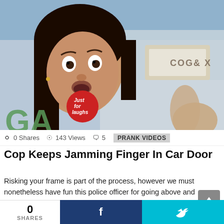[Figure (photo): Video thumbnail showing a woman with a surprised/scared expression in a car, with a 'Just for Laughs Gags' logo overlay in the lower left corner]
0 Shares  143 Views  5  PRANK VIDEOS
Cop Keeps Jamming Finger In Car Door
Risking your frame is part of the process, however we must nonetheless have fun this police officer for going above and past the decision of accountability. WATCH MORE GAGS CONTENT: SUBSCRIBE: Watch our newest pranks!
0 SHARES